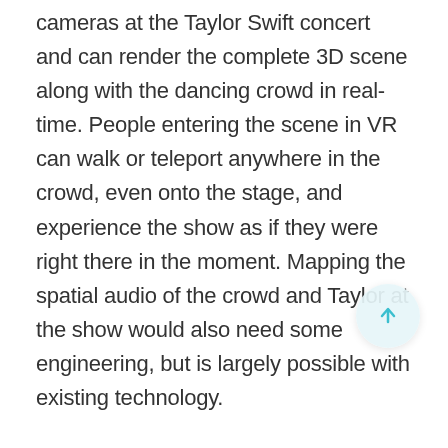cameras at the Taylor Swift concert and can render the complete 3D scene along with the dancing crowd in real-time. People entering the scene in VR can walk or teleport anywhere in the crowd, even onto the stage, and experience the show as if they were right there in the moment. Mapping the spatial audio of the crowd and Taylor at the show would also need some engineering, but is largely possible with existing technology.
Experiencing a live music show in person is a lot different than watching it on Youtube, and the technology outlined above would make in-person experiences more affordable and accessible. One drawback is that real-world